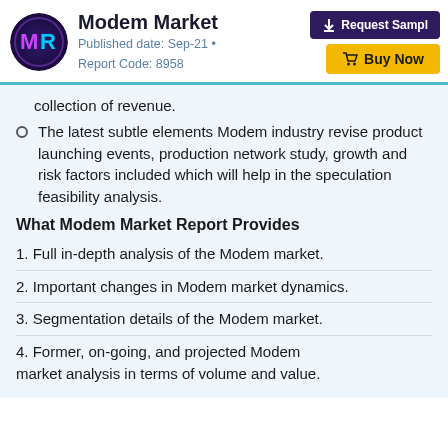Modem Market
Published date: Sep-21 • Report Code: 8958
collection of revenue.
The latest subtle elements Modem industry revise product launching events, production network study, growth and risk factors included which will help in the speculation feasibility analysis.
What Modem Market Report Provides
1. Full in-depth analysis of the Modem market.
2. Important changes in Modem market dynamics.
3. Segmentation details of the Modem market.
4. Former, on-going, and projected Modem market analysis in terms of volume and value.